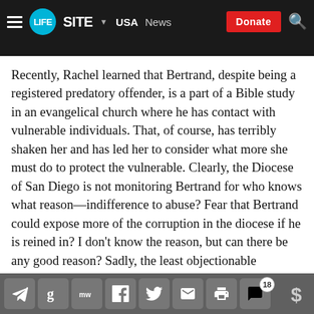LifeSite ▼ USA  News  Donate
Recently, Rachel learned that Bertrand, despite being a registered predatory offender, is a part of a Bible study in an evangelical church where he has contact with vulnerable individuals. That, of course, has terribly shaken her and has led her to consider what more she must do to protect the vulnerable. Clearly, the Diocese of San Diego is not monitoring Bertrand for who knows what reason—indifference to abuse? Fear that Bertrand could expose more of the corruption in the diocese if he is reined in? I don't know the reason, but can there be any good reason? Sadly, the least objectionable explanation would be neglect; but it would be criminal neglect.
Social share icons: Telegram, Gettr, MeWe, Facebook, Twitter, Email, Print, Comments (18), Donate